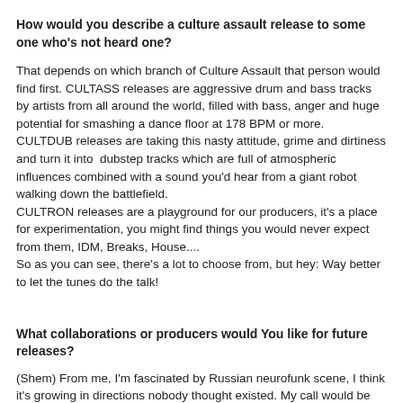How would you describe a culture assault release to some one who's not heard one?
That depends on which branch of Culture Assault that person would find first. CULTASS releases are aggressive drum and bass tracks by artists from all around the world, filled with bass, anger and huge potential for smashing a dance floor at 178 BPM or more.
CULTDUB releases are taking this nasty attitude, grime and dirtiness and turn it into  dubstep tracks which are full of atmospheric influences combined with a sound you'd hear from a giant robot walking down the battlefield.
CULTRON releases are a playground for our producers, it's a place for experimentation, you might find things you would never expect from them, IDM, Breaks, House....
So as you can see, there's a lot to choose from, but hey: Way better to let the tunes do the talk!
What collaborations or producers would You like for future releases?
(Shem) From me, I'm fascinated by Russian neurofunk scene, I think it's growing in directions nobody thought existed. My call would be Receptor, Kubrak, more of